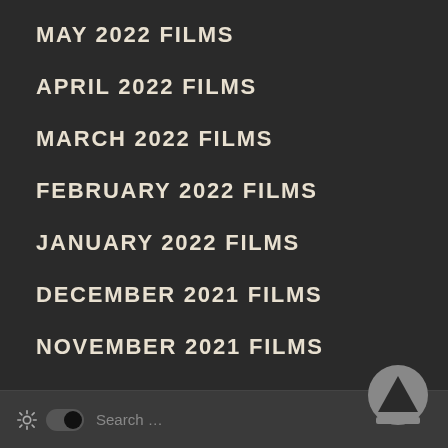MAY 2022 FILMS
APRIL 2022 FILMS
MARCH 2022 FILMS
FEBRUARY 2022 FILMS
JANUARY 2022 FILMS
DECEMBER 2021 FILMS
NOVEMBER 2021 FILMS
OCTOBER 2021 FILMS